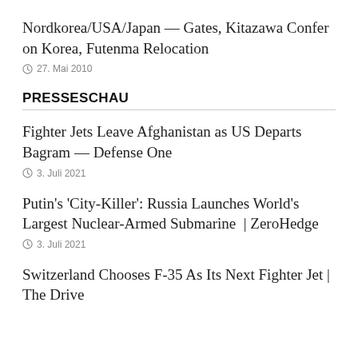Nordkorea/USA/Japan — Gates, Kitazawa Confer on Korea, Futenma Relocation
27. Mai 2010
PRESSESCHAU
Fighter Jets Leave Afghanistan as US Departs Bagram — Defense One
3. Juli 2021
Putin's 'City-Killer': Russia Launches World's Largest Nuclear-Armed Submarine  | ZeroHedge
3. Juli 2021
Switzerland Chooses F-35 As Its Next Fighter Jet | The Drive